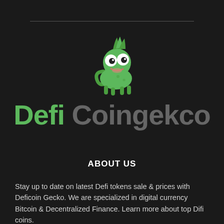[Figure (logo): DefiCoingekco logo featuring a green cartoon chameleon above the brand name 'Defi Coingekco' with 'Defi' in green and 'Coingekco' in gray, on a dark/black background.]
ABOUT US
Stay up to date on latest Defi tokens sale & prices with Deficoin Gecko. We are specialized in digital currency Bitcoin & Decentralized Finance. Learn more about top Difi coins.